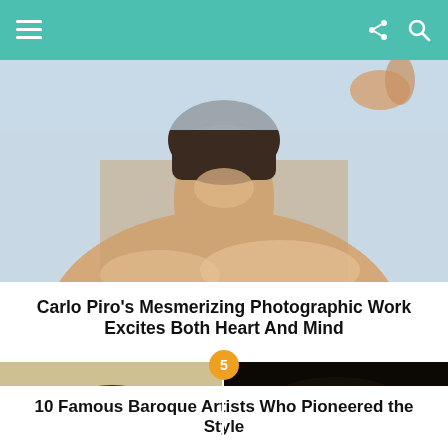Navigation header with menu, share, and search icons
[Figure (photo): Close-up photograph of a person's back of neck and bare shoulders, viewed from behind, short dark hair, soft light background]
Carlo Piro's Mesmerizing Photographic Work Excites Both Heart And Mind
[Figure (photo): Two side-by-side portrait paintings/drawings of Baroque-era artists. Left: sketch/drawing of Caravaggio. Right: painted portrait of Peter Paul Rubens wearing a dark hat.]
10 Famous Baroque Artists Who Pioneered the Style